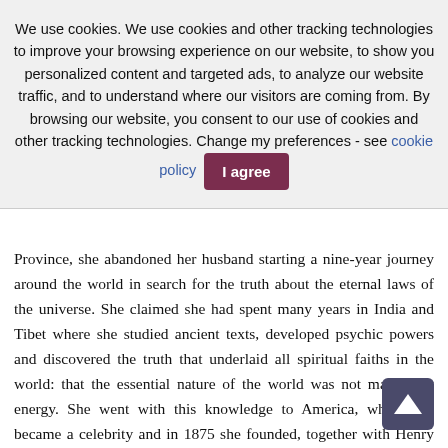We use cookies. We use cookies and other tracking technologies to improve your browsing experience on our website, to show you personalized content and targeted ads, to analyze our website traffic, and to understand where our visitors are coming from. By browsing our website, you consent to our use of cookies and other tracking technologies. Change my preferences - see cookie policy  I agree
Province, she abandoned her husband starting a nine-year journey around the world in search for the truth about the eternal laws of the universe. She claimed she had spent many years in India and Tibet where she studied ancient texts, developed psychic powers and discovered the truth that underlaid all spiritual faiths in the world: that the essential nature of the world was not matter but energy. She went with this knowledge to America, where she became a celebrity and in 1875 she founded, together with Henry Olcott, a journalist and Buddhist convert, a Theosophical Society named after combination of two Greek words: theos ("god(s)") and sophia ("wisdom") meaning...